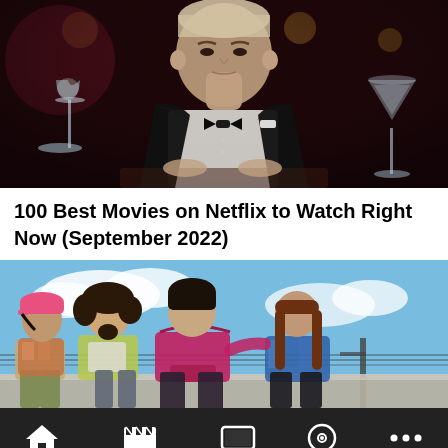[Figure (photo): A man in a black tuxedo with bow tie seated at a bar/restaurant, with a champagne glass on the left and a martini glass on the right, dark moody background with warm lights.]
100 Best Movies on Netflix to Watch Right Now (September 2022)
[Figure (photo): Four young people sitting on a wall against a blue sky background — a girl in a pink cap, a girl with curly hair in a yellow jacket, a boy in a magenta hoodie, and a girl with long brown hair in a blue patterned top.]
HOME  BOX OFFICE  TV  DVD  MORE